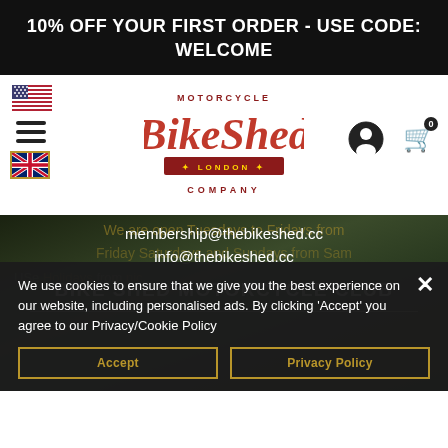10% OFF YOUR FIRST ORDER - USE CODE: WELCOME
[Figure (logo): Motorcycle BikeShed London Company logo in red script with banner]
membership@thebikeshed.cc
info@thebikeshed.cc
BIKE SHED MOTORCYCLE CLUB
We use cookies to ensure that we give you the best experience on our website, including personalised ads. By clicking 'Accept' you agree to our Privacy/Cookie Policy
Accept
Privacy Policy